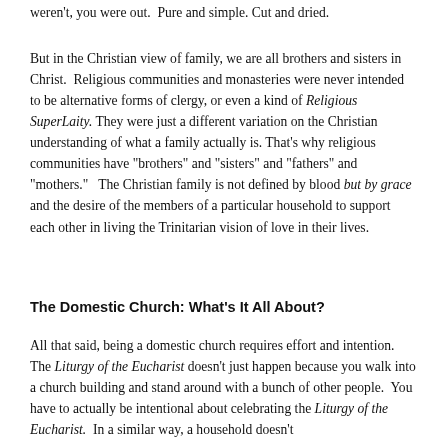weren't, you were out.  Pure and simple. Cut and dried.
But in the Christian view of family, we are all brothers and sisters in Christ.  Religious communities and monasteries were never intended to be alternative forms of clergy, or even a kind of Religious SuperLaity. They were just a different variation on the Christian understanding of what a family actually is. That's why religious communities have "brothers" and "sisters" and "fathers" and "mothers."  The Christian family is not defined by blood but by grace and the desire of the members of a particular household to support each other in living the Trinitarian vision of love in their lives.
The Domestic Church: What's It All About?
All that said, being a domestic church requires effort and intention.  The Liturgy of the Eucharist doesn't just happen because you walk into a church building and stand around with a bunch of other people.  You have to actually be intentional about celebrating the Liturgy of the Eucharist.  In a similar way, a household doesn't